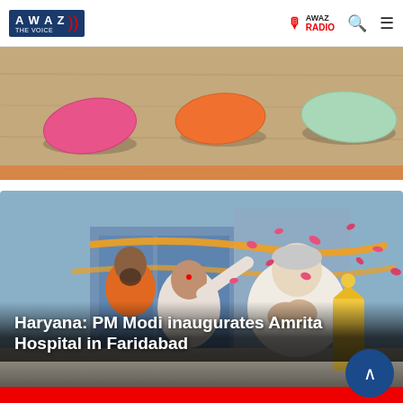AWAZ THE VOICE — AWAZ RADIO
[Figure (photo): Colorful pill-shaped objects (pink, orange, green) on a wooden surface]
[Figure (photo): PM Modi performing puja at inauguration of Amrita Hospital in Faridabad, Haryana, with flower petals being showered]
Haryana: PM Modi inaugurates Amrita Hospital in Faridabad